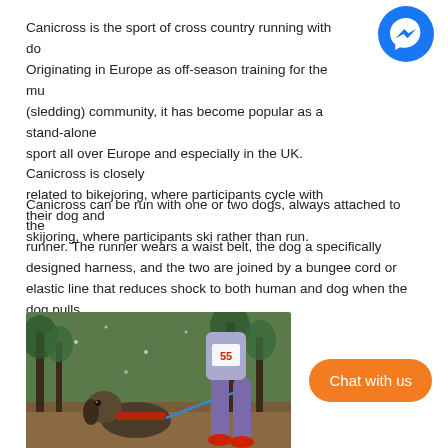Canicross is the sport of cross country running with dogs. Originating in Europe as off-season training for the mushing (sledding) community, it has become popular as a stand-alone sport all over Europe and especially in the UK. Canicross is closely related to bikejoring, where participants cycle with their dog and skijoring, where participants ski rather than run.
Canicross can be run with one or two dogs, always attached to the runner. The runner wears a waist belt, the dog a specifically designed harness, and the two are joined by a bungee cord or elastic line that reduces shock to both human and dog when the dog pulls.
[Figure (photo): A person running with a dog in a forest. The dog is wearing a harness and is connected to the runner by a leash. The runner wears a race bib with number 55 and colorful leggings with red shoes.]